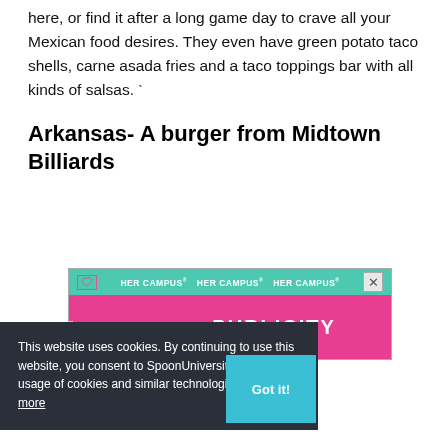here, or find it after a long game day to crave all your Mexican food desires. They even have green potato taco shells, carne asada fries and a taco toppings bar with all kinds of salsas.
Arkansas- A burger from Midtown Billiards
[Figure (screenshot): HerCampus advertisement banner: teal top bar with HER CAMPUS labels and X close button, pink bottom bar reading BECOME A LEADER IN PUBLICITY]
This website uses cookies. By continuing to use this website, you consent to SpoonUniversity.com's usage of cookies and similar technologies Learn more
Got it!